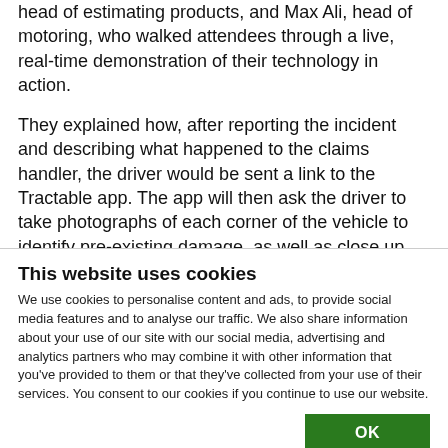head of estimating products, and Max Ali, head of motoring, who walked attendees through a live, real-time demonstration of their technology in action.

They explained how, after reporting the incident and describing what happened to the claims handler, the driver would be sent a link to the Tractable app. The app will then ask the driver to take photographs of each corner of the vehicle to identify pre-existing damage, as well as close up images of any new…
This website uses cookies
We use cookies to personalise content and ads, to provide social media features and to analyse our traffic. We also share information about your use of our site with our social media, advertising and analytics partners who may combine it with other information that you've provided to them or that they've collected from your use of their services. You consent to our cookies if you continue to use our website.